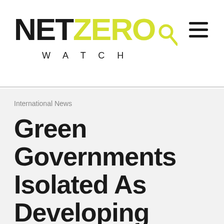NET ZERO WATCH
International News
Green Governments Isolated As Developing Nations Join